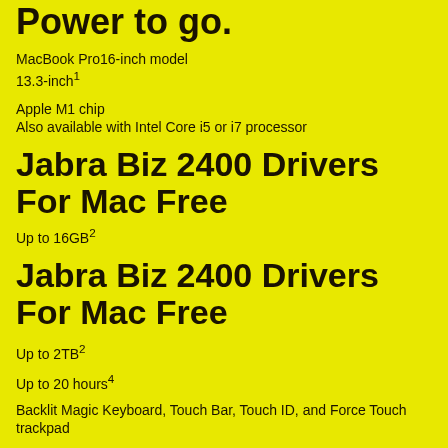Power to go.
MacBook Pro16-inch model
13.3-inch¹
Apple M1 chip
Also available with Intel Core i5 or i7 processor
Jabra Biz 2400 Drivers For Mac Free
Up to 16GB²
Jabra Biz 2400 Drivers For Mac Free
Up to 2TB²
Up to 20 hours⁴
Backlit Magic Keyboard, Touch Bar, Touch ID, and Force Touch trackpad
Backlit Magic Keyboard, Touch Bar, Touch ID, and Force Touch trackpad